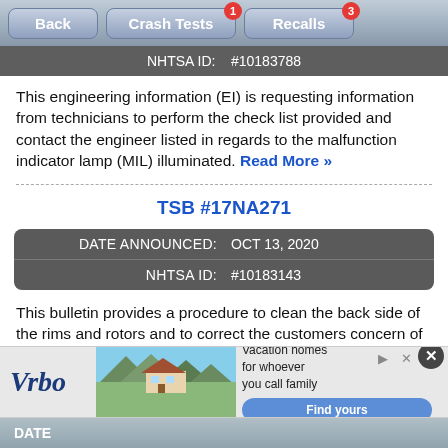[Figure (screenshot): Mobile app navigation bar with Back, Crash Tests (badge: 1), and Recalls (badge: 3) buttons]
NHTSA ID:   #10183788
This engineering information (EI) is requesting information from technicians to perform the check list provided and contact the engineer listed in regards to the malfunction indicator lamp (MIL) illuminated. Read More »
TSB #17NA271
|  |  |
| --- | --- |
| DATE ANNOUNCED: | OCT 13, 2020 |
| NHTSA ID: | #10183143 |
This bulletin provides a procedure to clean the back side of the rims and rotors and to correct the customers concern of wheel clicking. Read More »
TSB #20000000C (partial, cut off)
DATE (cut off) — bottom navigation bar
[Figure (screenshot): Vrbo advertisement banner with logo, mountain house image, text 'Vacation homes for whoever you call family', and Find yours button]